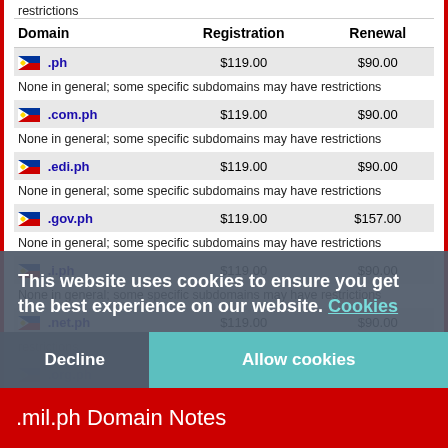restrictions
| Domain | Registration | Renewal |
| --- | --- | --- |
| .ph | $119.00 | $90.00 |
| None in general; some specific subdomains may have restrictions |  |  |
| .com.ph | $119.00 | $90.00 |
| None in general; some specific subdomains may have restrictions |  |  |
| .edi.ph | $119.00 | $90.00 |
| None in general; some specific subdomains may have restrictions |  |  |
| .gov.ph | $119.00 | $157.00 |
| None in general; some specific subdomains may have restrictions |  |  |
| .i.ph | $119.00 | $90.00 |
| None in general; some specific subdomains may have restrictions |  |  |
| .net.ph | $119.00 | $90.00 |
| restrictions |  |  |
| .org.ph | $119.00 | $90.00 |
| None in general; some specific subdomains may have restrictions |  |  |
This website uses cookies to ensure you get the best experience on our website. Cookies
Decline
Allow cookies
.mil.ph Domain Notes